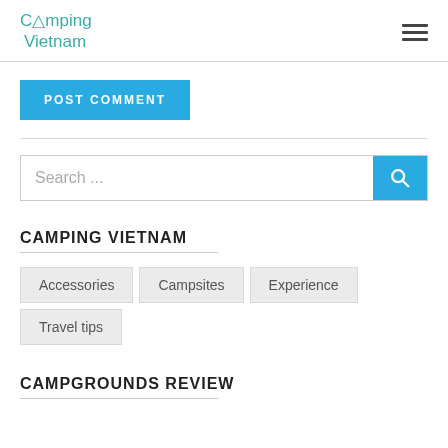Camping Vietnam
POST COMMENT
Search ...
CAMPING VIETNAM
Accessories
Campsites
Experience
Travel tips
CAMPGROUNDS REVIEW